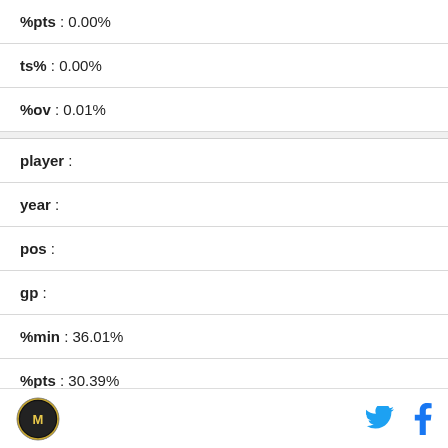%pts : 0.00%
ts% : 0.00%
%ov : 0.01%
player :
year :
pos :
gp :
%min : 36.01%
%pts : 30.39%
ts% :
%ov : 29.99%